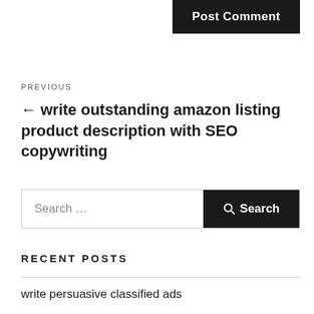Post Comment
PREVIOUS
← write outstanding amazon listing product description with SEO copywriting
Search …
RECENT POSTS
write persuasive classified ads